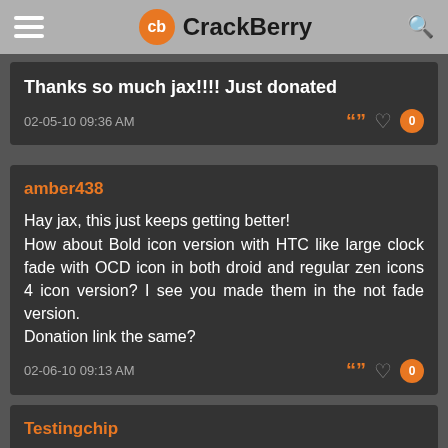CrackBerry
Thanks so much jax!!!! Just donated
02-05-10 09:36 AM
amber438
Hay jax, this just keeps getting better!
How about Bold icon version with HTC like large clock fade with OCD icon in both droid and regular zen icons 4 icon version? I see you made them in the not fade version.
Donation link the same?
02-06-10 09:13 AM
Testingchip